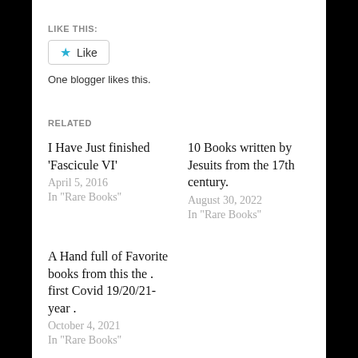LIKE THIS:
[Figure (other): Like button with blue star icon and text 'Like']
One blogger likes this.
RELATED
I Have Just finished ‘Fascicule VI’
April 5, 2016
In "Rare Books"
10 Books written by Jesuits from the 17th century.
August 30, 2022
In "Rare Books"
A Hand full of Favorite books from this the . first Covid 19/20/21- year .
October 4, 2021
In "Rare Books"